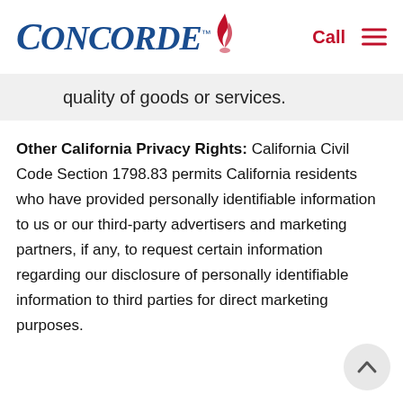Concorde — Call [navigation header]
quality of goods or services.
Other California Privacy Rights: California Civil Code Section 1798.83 permits California residents who have provided personally identifiable information to us or our third-party advertisers and marketing partners, if any, to request certain information regarding our disclosure of personally identifiable information to third parties for direct marketing purposes.